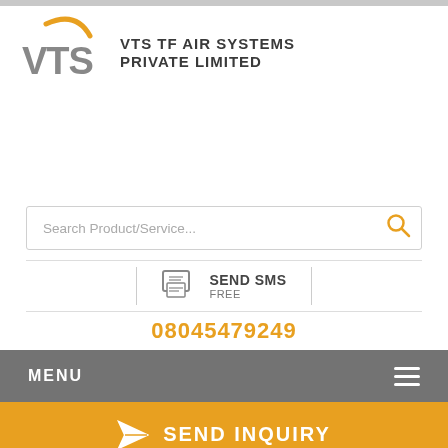[Figure (logo): VTS TF Air Systems Private Limited logo with orange arc and grey VTS text]
VTS TF AIR SYSTEMS PRIVATE LIMITED
[Figure (screenshot): Search Product/Service text input field with orange search icon]
[Figure (infographic): Send SMS FREE button with SMS icon]
08045479249
MENU
SEND INQUIRY